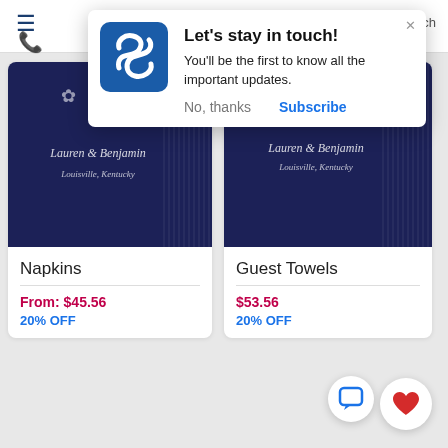[Figure (screenshot): Navigation bar with hamburger menu and phone icon]
[Figure (infographic): Browser notification popup: 'Let's stay in touch!' with S logo, body text 'You'll be the first to know all the important updates.', No thanks and Subscribe buttons]
[Figure (photo): Product card image: dark navy blue napkins with white script text 'Lauren & Benjamin, Louisville, Kentucky' and floral motifs]
Napkins
From: $45.56
20% OFF
[Figure (photo): Product card image: dark navy blue guest towels with white script text 'Lauren & Benjamin, Louisville, Kentucky' and floral motifs]
Guest Towels
$53.56
20% OFF